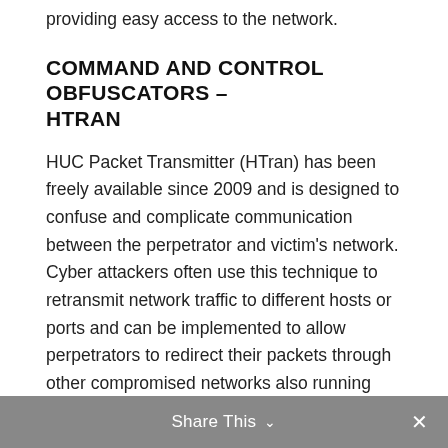providing easy access to the network.
COMMAND AND CONTROL OBFUSCATORS – HTRAN
HUC Packet Transmitter (HTran) has been freely available since 2009 and is designed to confuse and complicate communication between the perpetrator and victim's network. Cyber attackers often use this technique to retransmit network traffic to different hosts or ports and can be implemented to allow perpetrators to redirect their packets through other compromised networks also running HTran facilitating greater access to hosts in a network.
Share This ∨  ✕
HTran has the capability to run in several